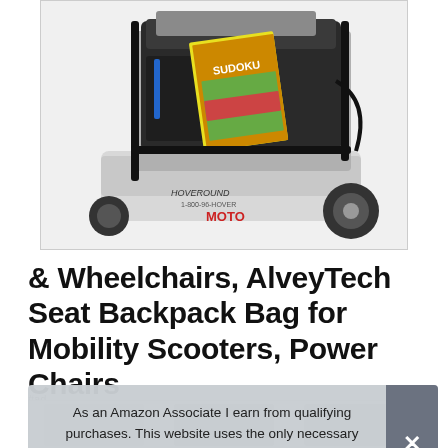[Figure (photo): Product photo of an AlveyTech Seat Backpack Bag mounted on a mobility scooter/power chair, showing black bag with mesh pocket containing a Sudoku book. Brand text 'HOVEROUND' visible at bottom.]
& Wheelchairs, AlveyTech Seat Backpack Bag for Mobility Scooters, Power Chairs
#ad
As an Amazon Associate I earn from qualifying purchases. This website uses the only necessary cookies to ensure you get the best experience on our website. More information
[Figure (photo): Thumbnail row showing three small product images at the bottom of the page]